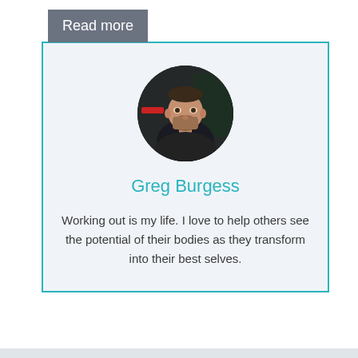Read more
[Figure (photo): Circular profile photo of Greg Burgess, a man with a beard wearing a dark sleeveless shirt, photographed in a gym setting]
Greg Burgess
Working out is my life. I love to help others see the potential of their bodies as they transform into their best selves.